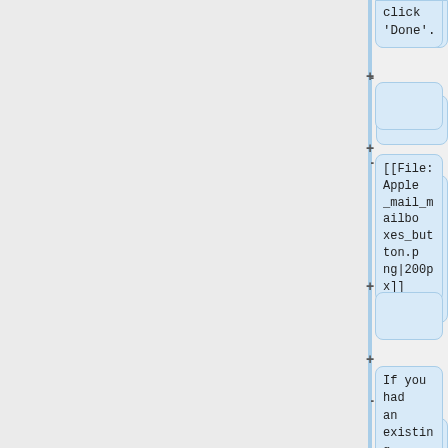click 'Done'.
[[File:Apple_mail_mailboxes_button.png|200px]]
If you had an existing Mail account, you will need to click on the 'Mailboxes' button to see your CSC account. There will